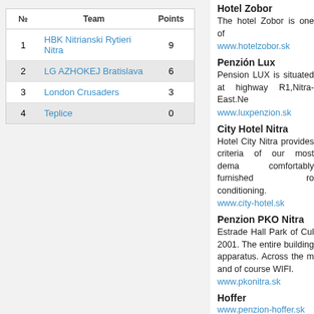| № | Team | Points |
| --- | --- | --- |
| 1 | HBK Nitrianski Rytieri Nitra | 9 |
| 2 | LG AZHOKEJ Bratislava | 6 |
| 3 | London Crusaders | 3 |
| 4 | Teplice | 0 |
Hotel Zobor
The hotel Zobor is one of
www.hotelzobor.sk
Penzión Lux
Pension LUX is situated at highway R1,Nitra-East.Ne
www.luxpenzion.sk
City Hotel Nitra
Hotel City Nitra provides criteria of our most dema comfortably furnished ro conditioning.
www.city-hotel.sk
Penzion PKO Nitra
Estrade Hall Park of Cul 2001. The entire building apparatus. Across the m and of course WIFI.
www.pkonitra.sk
Hoffer
www.penzion-hoffer.sk